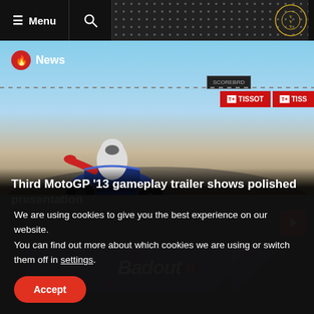≡ Menu  🔍
[Figure (screenshot): MotoGP '13 gameplay screenshot showing a motorcycle racer on a circuit with Tissot advertising boards in the background]
🔥 News
Third MotoGP '13 gameplay trailer shows polished presentation
[Figure (screenshot): Badout II game banner/logo in stylized text on a dark background]
We are using cookies to give you the best experience on our website.
You can find out more about which cookies we are using or switch them off in settings.
Accept